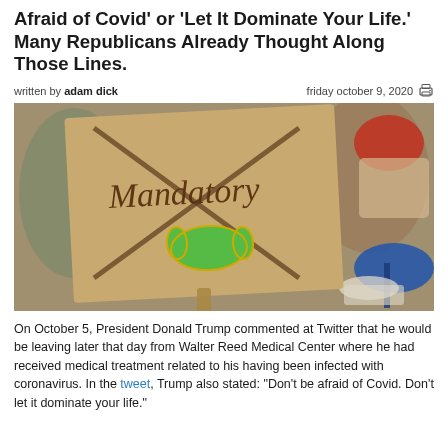Afraid of Covid' or 'Let It Dominate Your Life.' Many Republicans Already Thought Along Those Lines.
written by adam dick   friday october 9, 2020
[Figure (photo): A protest sign made of cardboard with a green medical mask attached and an X drawn through it, with the word 'Mandatory' written on it. People and a blue umbrella visible in the background at what appears to be an outdoor event.]
On October 5, President Donald Trump commented at Twitter that he would be leaving later that day from Walter Reed Medical Center where he had received medical treatment related to his having been infected with coronavirus. In the tweet, Trump also stated: "Don't be afraid of Covid. Don't let it dominate your life."